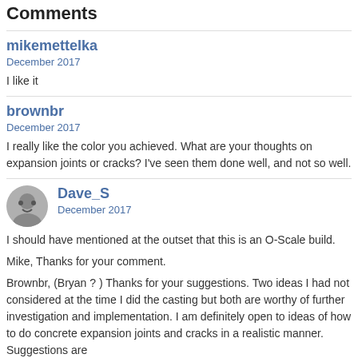Comments
mikemettelka
December 2017
I like it
brownbr
December 2017
I really like the color you achieved. What are your thoughts on expansion joints or cracks? I've seen them done well, and not so well.
Dave_S
December 2017
I should have mentioned at the outset that this is an O-Scale build.
Mike, Thanks for your comment.
Brownbr, (Bryan ? ) Thanks for your suggestions. Two ideas I had not considered at the time I did the casting but both are worthy of further investigation and implementation. I am definitely open to ideas of how to do concrete expansion joints and cracks in a realistic manner. Suggestions are